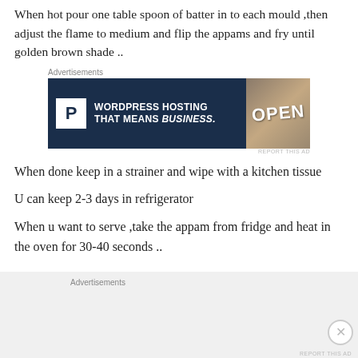When hot pour one table spoon of batter in to each mould ,then adjust the flame to medium and flip the appams and fry until golden brown shade ..
[Figure (other): Advertisement banner for WordPress Hosting with text 'WORDPRESS HOSTING THAT MEANS BUSINESS.' and an OPEN sign image, labeled 'Advertisements']
When done keep in a strainer and wipe with a kitchen tissue
U can keep 2-3 days in refrigerator
When u want to serve ,take the appam from fridge and heat in the oven for 30-40 seconds ..
[Figure (other): Advertisements section at bottom of page with gray background]